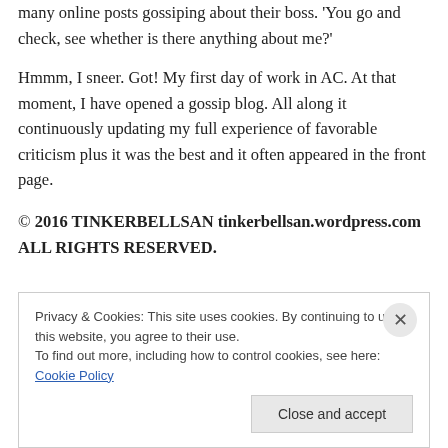many online posts gossiping about their boss. 'You go and check, see whether is there anything about me?'
Hmmm, I sneer. Got! My first day of work in AC. At that moment, I have opened a gossip blog. All along it continuously updating my full experience of favorable criticism plus it was the best and it often appeared in the front page.
© 2016 TINKERBELLSAN tinkerbellsan.wordpress.com ALL RIGHTS RESERVED.
Privacy & Cookies: This site uses cookies. By continuing to use this website, you agree to their use.
To find out more, including how to control cookies, see here: Cookie Policy

Close and accept